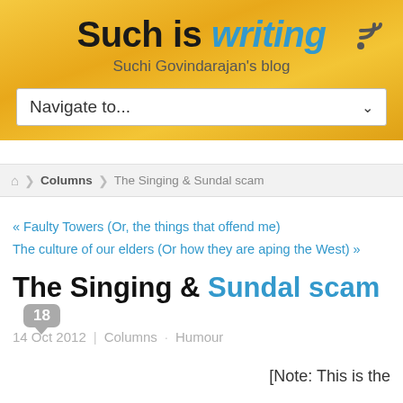Such is writing — Suchi Govindarajan's blog
Navigate to...
Home > Columns > The Singing & Sundal scam
« Faulty Towers (Or, the things that offend me)
The culture of our elders (Or how they are aping the West) »
The Singing & Sundal scam  18
14 Oct 2012  |  Columns  ·  Humour
[Note: This is the